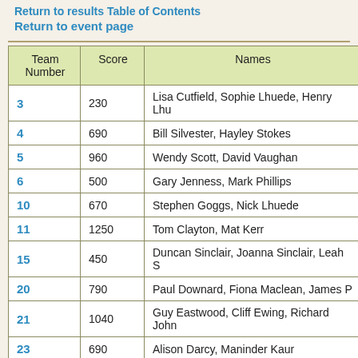Return to results Table of Contents
Return to event page
| Team Number | Score | Names |
| --- | --- | --- |
| 3 | 230 | Lisa Cutfield, Sophie Lhuede, Henry Lhu… |
| 4 | 690 | Bill Silvester, Hayley Stokes |
| 5 | 960 | Wendy Scott, David Vaughan |
| 6 | 500 | Gary Jenness, Mark Phillips |
| 10 | 670 | Stephen Goggs, Nick Lhuede |
| 11 | 1250 | Tom Clayton, Mat Kerr |
| 15 | 450 | Duncan Sinclair, Joanna Sinclair, Leah S… |
| 20 | 790 | Paul Downard, Fiona Maclean, James P… |
| 21 | 1040 | Guy Eastwood, Cliff Ewing, Richard John… |
| 23 | 690 | Alison Darcy, Maninder Kaur |
| 24 | 420 | Jessica Green, Michael Green |
| 30 | 750 | Donald Baxter, Peter Erlandsen |
| 31 | 1040 | Christina Mint, David Willi… |